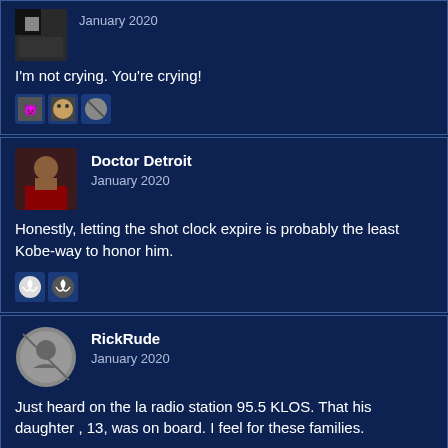I'm not crying. You're crying!
Doctor Detroit
January 2020
Honestly, letting the shot clock expire is probably the least Kobe-way to honor him.
RickRude
January 2020
Just heard on the la radio station 95.5 KLOS. That his daughter , 13, was on board. I feel for these families.